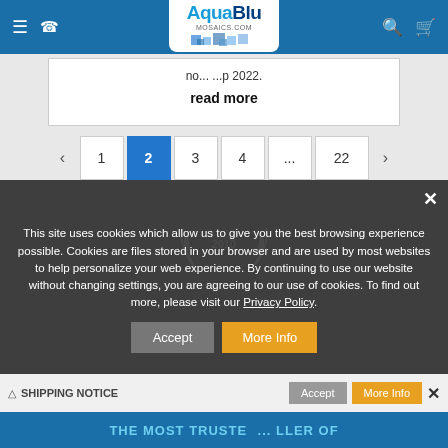AquaBlu MOSAICS.COM
no... ...p 2022.
read more
< 1 2 3 4 ... 22 >
This site uses cookies which allow us to give you the best browsing experience possible. Cookies are files stored in your browser and are used by most websites to help personalize your web experience. By continuing to use our website without changing settings, you are agreeing to our use of cookies. To find out more, please visit our Privacy Policy.
Accept   More Info   ×
THE MOST TRUSTED... LLER OF